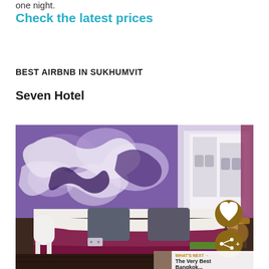one night.
Check the latest prices
BEST AIRBNB IN SUKHUMVIT
Seven Hotel
[Figure (photo): Hotel room with purple artistic mural on wall, white bed with dark grey pillows and purple/maroon throw blanket, white modern chair, window view of building exterior. Social media overlay buttons visible: heart/like button with count 4, share button. 'What's Next' preview panel in bottom right corner showing 'The Very Best Bangkok...']